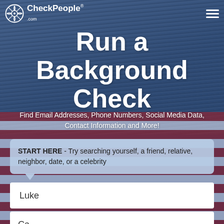CheckPeople.com
Run a Background Check
Find Email Addresses, Phone Numbers, Social Media Data, Contact Information and More!
START HERE - Try searching yourself, a friend, relative, neighbor, date, or a celebrity
Luke
Ca
Paramount